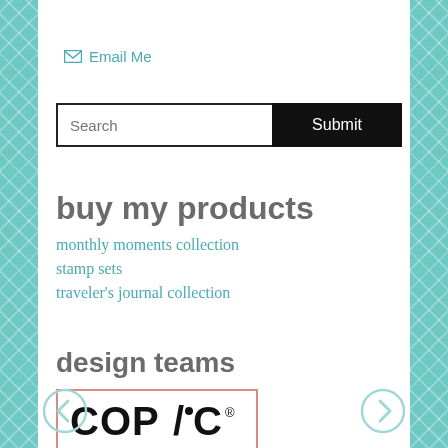✉ Email Me
Search  Submit
buy my products
monthly moments collection
stamp sets
traveler's journal collection
design teams
[Figure (logo): COP/C Copic logo in a pink-bordered box]